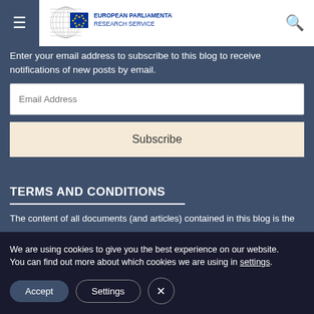[Figure (logo): European Parliamentary Research Service logo with EU flag emblem and circular parliament design]
Enter your email address to subscribe to this blog to receive notifications of new posts by email.
Email Address
Subscribe
TERMS AND CONDITIONS
The content of all documents (and articles) contained in this blog is the
We are using cookies to give you the best experience on our website.
You can find out more about which cookies we are using in settings.
Accept
Settings